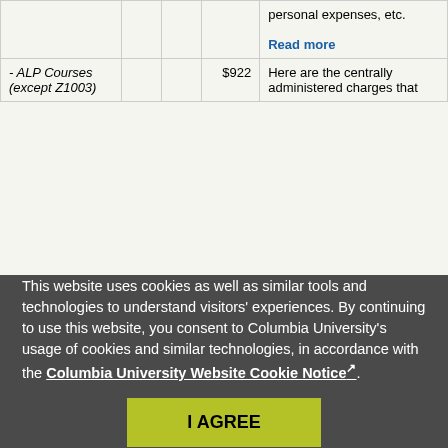|  |  |  |  | personal expenses, etc.
Read more |
| - ALP Courses (except Z1003) |  |  | $922 | Here are the centrally administered charges that... |
This website uses cookies as well as similar tools and technologies to understand visitors' experiences. By continuing to use this website, you consent to Columbia University's usage of cookies and similar technologies, in accordance with the Columbia University Website Cookie Notice.
I AGREE